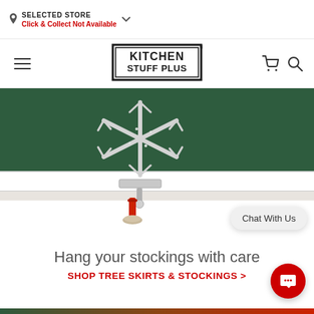SELECTED STORE Click & Collect Not Available
[Figure (logo): Kitchen Stuff Plus logo — bold black text in a rectangular border frame]
[Figure (photo): A silver glitter snowflake stocking holder sitting on a white mantle shelf against a dark green background, with a red and fur stocking hanging from it. A 'Chat With Us' popup bubble is visible in the lower right.]
Hang your stockings with care
SHOP TREE SKIRTS & STOCKINGS >